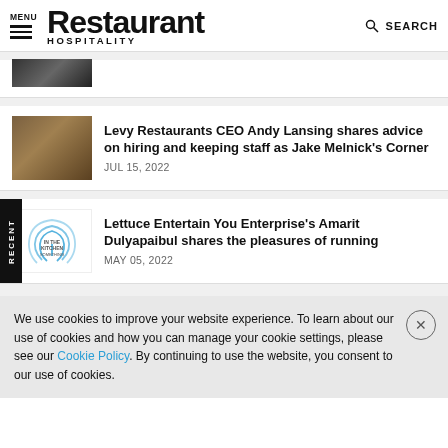MENU | Restaurant HOSPITALITY | SEARCH
[Figure (photo): Partial image cropped at top, dark tones, restaurant or food scene]
Levy Restaurants CEO Andy Lansing shares advice on hiring and keeping staff as Jake Melnick's Corner
JUL 15, 2022
Lettuce Entertain You Enterprise's Amarit Dulyapaibul shares the pleasures of running
MAY 05, 2022
We use cookies to improve your website experience. To learn about our use of cookies and how you can manage your cookie settings, please see our Cookie Policy. By continuing to use the website, you consent to our use of cookies.